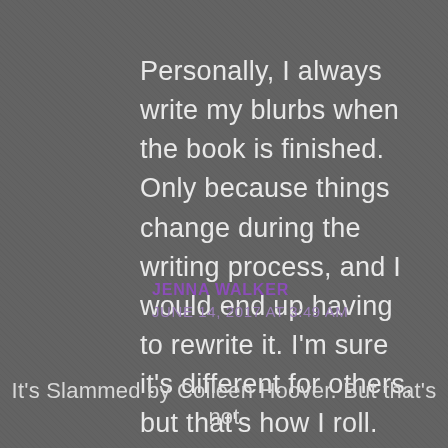Personally, I always write my blurbs when the book is finished. Only because things change during the writing process, and I would end up having to rewrite it. I'm sure it's different for others, but that's how I roll.
JENNA WALKER
JUNE 14, 2017 AT 3:49 AM
It's Slammed by Colleen Hoover. But that's not